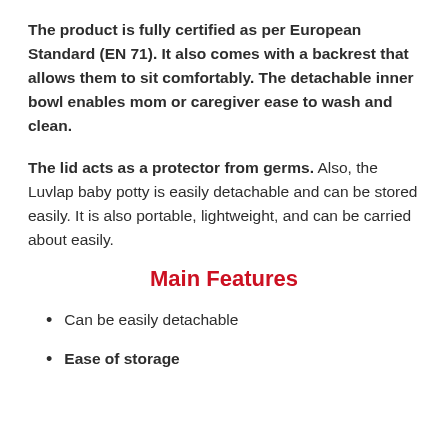The product is fully certified as per European Standard (EN 71). It also comes with a backrest that allows them to sit comfortably. The detachable inner bowl enables mom or caregiver ease to wash and clean.
The lid acts as a protector from germs. Also, the Luvlap baby potty is easily detachable and can be stored easily. It is also portable, lightweight, and can be carried about easily.
Main Features
Can be easily detachable
Ease of storage